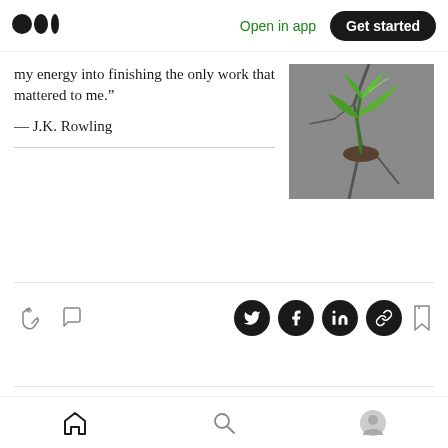Medium logo | Open in app | Get started
my energy into finishing the only work that mattered to me.”
— J.K. Rowling
[Figure (photo): A green plant seedling growing through cracked concrete/stone]
© winter rain creative 2021
Jun 12, 2021
inspiring quote
Home | Search | Profile